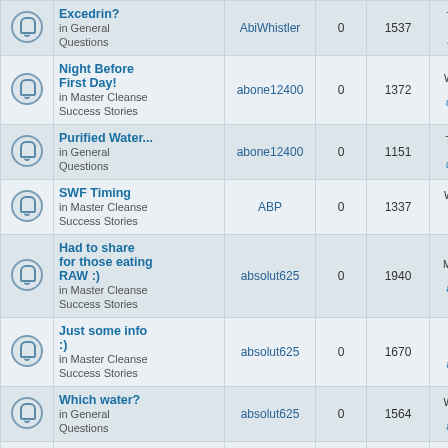|  | Topic | Author | Replies | Views | Last Post |
| --- | --- | --- | --- | --- | --- |
|  | Excedrin?
in General Questions | AbiWhistler | 0 | 1537 | Tue Apr 20
4:07 a
AbiWhistle |
|  | Night Before First Day!
in Master Cleanse Success Stories | abone12400 | 0 | 1372 | Wed Jan 31
6:38 p
abone1240 |
|  | Purified Water...
in General Questions | abone12400 | 0 | 1151 | Thu Feb 01
10:14 a
abone1240 |
|  | SWF Timing
in Master Cleanse Success Stories | ABP | 0 | 1337 | Wed Jan 23
7:35 a
ABP → |
|  | Had to share for those eating RAW :)
in Master Cleanse Success Stories | absolut625 | 0 | 1940 | Mon May 17
5:06 p
absolut625 |
|  | Just some info :)
in Master Cleanse Success Stories | absolut625 | 0 | 1670 | Sat Apr 17
7:38 a
absolut625 |
|  | Which water?
in General Questions | absolut625 | 0 | 1564 | Wed Mar 03
3:28 p
absolut625 |
|  | Tip for anyone wanting to break their cleanse
in General Questions | absolut625 | 0 | 1758 | Wed May 26
6:34 p
absolut625 |